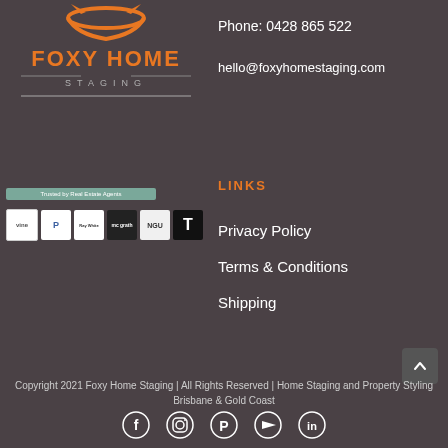[Figure (logo): Foxy Home Staging logo with orange fox icon and text]
Phone: 0428 865 522
hello@foxyhomestaging.com
[Figure (illustration): Trusted by Real Estate Agents badge and partner real estate agency logos including Vine, PRD, Ray White, McGrath, NGU, The Telegraph]
LINKS
Privacy Policy
Terms & Conditions
Shipping
Copyright 2021 Foxy Home Staging | All Rights Reserved | Home Staging and Property Styling Brisbane & Gold Coast
[Figure (illustration): Social media icons: Facebook, Instagram, Pinterest, YouTube, LinkedIn]